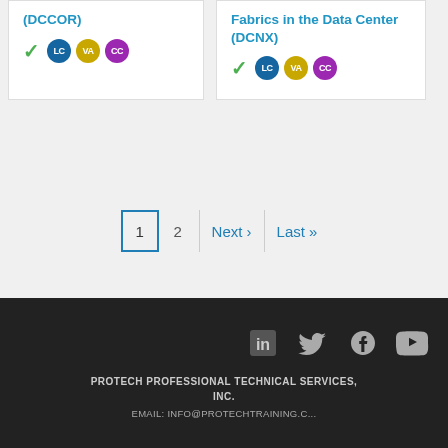(DCCOR)
[Figure (infographic): Green checkmark and three badge circles: LC (blue), VA (gold), CC (purple)]
Fabrics in the Data Center (DCNX)
[Figure (infographic): Green checkmark and three badge circles: LC (blue), VA (gold), CC (purple)]
1  2  Next ›  Last »
PROTECH PROFESSIONAL TECHNICAL SERVICES, INC.
EMAIL: INFO@PROTECHTRAINING.C...